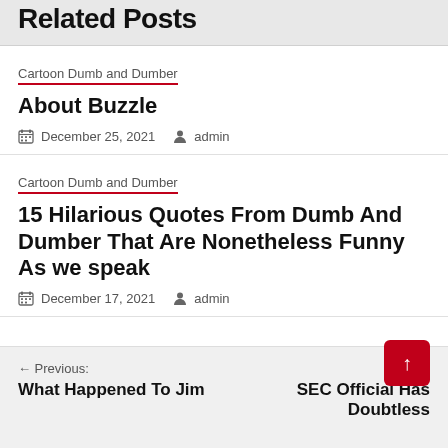Related Posts
Cartoon Dumb and Dumber
About Buzzle
December 25, 2021  admin
Cartoon Dumb and Dumber
15 Hilarious Quotes From Dumb And Dumber That Are Nonetheless Funny As we speak
December 17, 2021  admin
Previous: What Happened To Jim  |  Next: SEC Official Has Doubtless